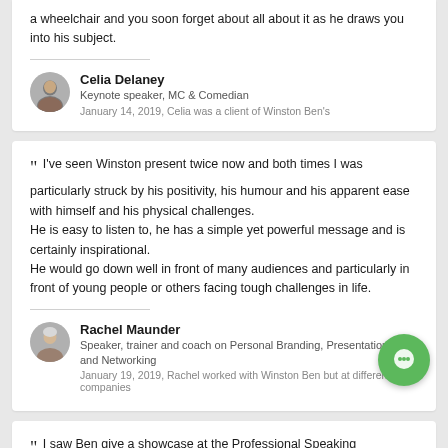a wheelchair and you soon forget about all about it as he draws you into his subject.
Celia Delaney
Keynote speaker, MC & Comedian
January 14, 2019, Celia was a client of Winston Ben's
" I've seen Winston present twice now and both times I was particularly struck by his positivity, his humour and his apparent ease with himself and his physical challenges.
He is easy to listen to, he has a simple yet powerful message and is certainly inspirational.
He would go down well in front of many audiences and particularly in front of young people or others facing tough challenges in life.
Rachel Maunder
Speaker, trainer and coach on Personal Branding, Presentation Skills and Networking
January 19, 2019, Rachel worked with Winston Ben but at different companies
" I saw Ben give a showcase at the Professional Speaking Association. He was insightful, funny and inspirational! Highly recommend him as a speaker.